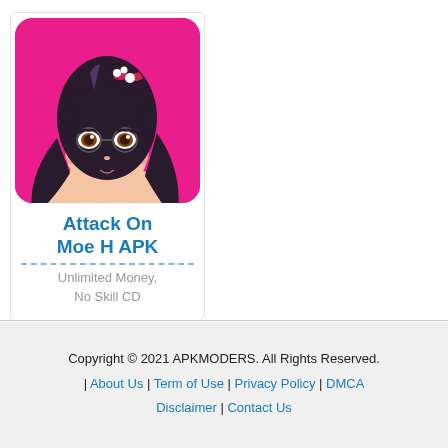[Figure (illustration): Anime-style character illustration on pink background — girl with dark hair, hair accessories, glasses, on a bright pink/magenta background. Shown as a rounded square app icon.]
Attack On Moe H APK
Unlimited Money, No Skill CD
Copyright © 2021 APKMODERS. All Rights Reserved. | About Us | Term of Use | Privacy Policy | DMCA Disclaimer | Contact Us